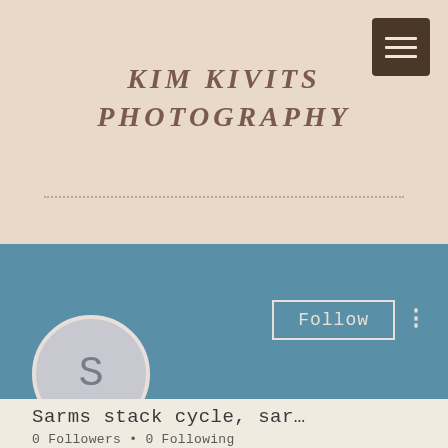KIM KIVITS PHOTOGRAPHY
[Figure (screenshot): Mobile website screenshot showing Kim Kivits Photography blog header with hamburger menu, blue profile section with Follow button, avatar circle with letter S, and user profile info for 'Sarms stack cycle, sar...' with 0 Followers and 0 Following]
Sarms stack cycle, sar…
0 Followers • 0 Following